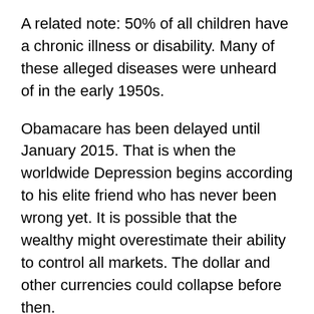A related note: 50% of all children have a chronic illness or disability. Many of these alleged diseases were unheard of in the early 1950s.
Obamacare has been delayed until January 2015. That is when the worldwide Depression begins according to his elite friend who has never been wrong yet. It is possible that the wealthy might overestimate their ability to control all markets. The dollar and other currencies could collapse before then.
My Comments: Between 3 and 4 million Americans died from starvation in the last Depression. MIT did a study last year in which they said a global collapse would kill between 500 million and a billion people. And in the aftermath billions more would die in a series of plagues. Lindsey Williams is uneducated in economics so you can